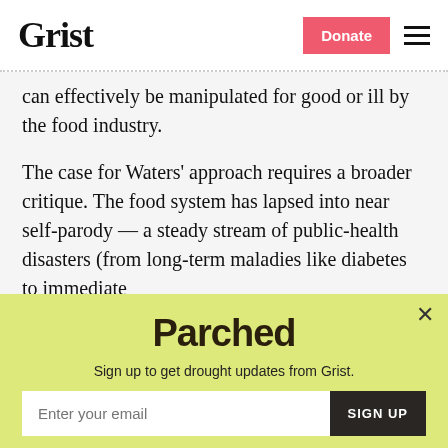Grist | Donate | Menu
can effectively be manipulated for good or ill by the food industry.
The case for Waters’ approach requires a broader critique. The food system has lapsed into near self-parody — a steady stream of public-health disasters (from long-term maladies like diabetes to immediate
[Figure (screenshot): Parched newsletter signup modal with yellow-green background. Contains the 'Parched' logo in bold dark text, subtitle 'Sign up to get drought updates from Grist.', an email input field, a 'SIGN UP' button, and a 'No thanks' link. A close (X) button is in the top right corner.]